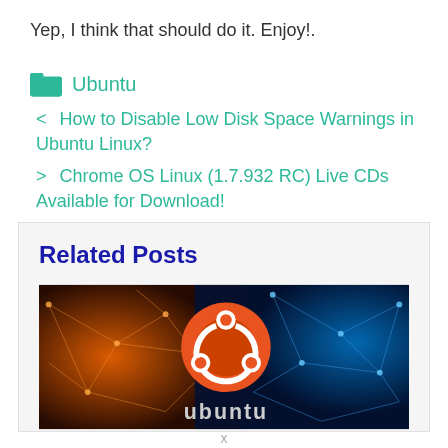Yep, I think that should do it. Enjoy!.
Ubuntu
< How to Disable Low Disk Space Warnings in Ubuntu Linux?
> Chrome OS Linux (1.7.932 RC) Live CDs Available for Download!
Related Posts
[Figure (photo): Ubuntu logo on an orange and blue geometric/network background with the text 'ubuntu' at the bottom]